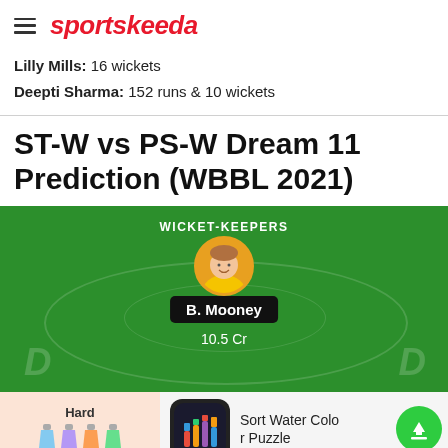sportskeeda
Lilly Mills: 16 wickets
Deepti Sharma: 152 runs & 10 wickets
ST-W vs PS-W Dream 11 Prediction (WBBL 2021)
[Figure (infographic): Dream 11 cricket team selection graphic showing WICKET-KEEPERS section with player B. Mooney at 10.5 Cr credits on a green cricket ground background]
[Figure (infographic): Advertisement banner for Sort Water Color Puzzle app showing Hard difficulty indicator, flask icons, app icon, and green download button]